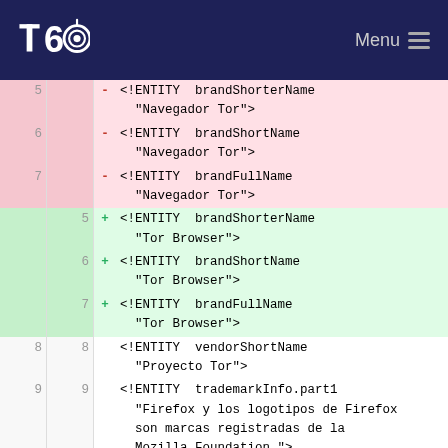Tor Browser — Menu
[Figure (screenshot): A diff view from the Tor Project website showing changes to a DTD entity file, replacing Spanish 'Navegador Tor' values with English 'Tor Browser' values for brandShorterName, brandShortName, and brandFullName entities (lines 5-7), while lines 8-10 show unchanged vendorShortName and trademarkInfo entities.]